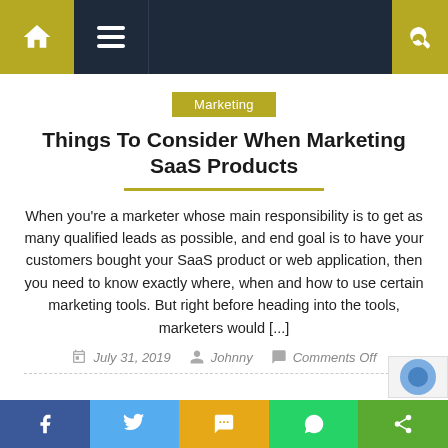Navigation bar with home, menu, and search icons
Marketing
Things To Consider When Marketing SaaS Products
When you're a marketer whose main responsibility is to get as many qualified leads as possible, and end goal is to have your customers bought your SaaS product or web application, then you need to know exactly where, when and how to use certain marketing tools. But right before heading into the tools, marketers would [...]
July 31, 2019   Johnny   Comments Off
Social share buttons: Facebook, Twitter, SMS, WhatsApp, Share